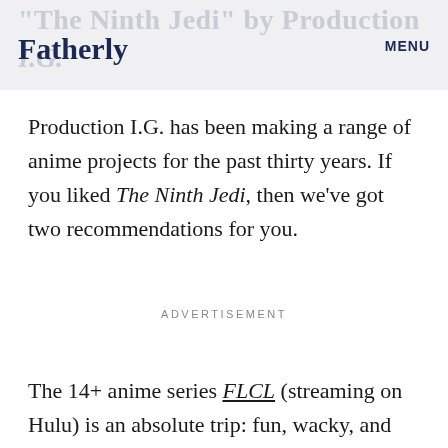Fatherly MENU
Production I.G. has been making a range of anime projects for the past thirty years. If you liked The Ninth Jedi, then we've got two recommendations for you.
ADVERTISEMENT
The 14+ anime series FLCL (streaming on Hulu) is an absolute trip: fun, wacky, and frenetic. The